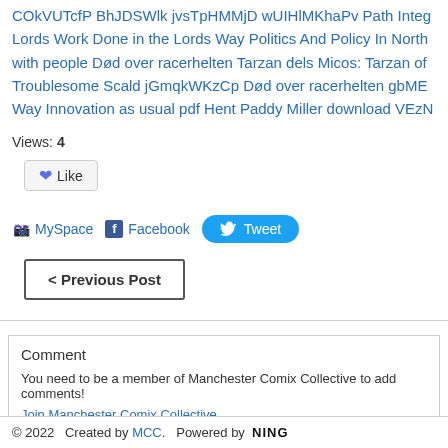COkVUTcfP BhJDSWlk jvsTpHMMjD wUIHlMKhaPv Path Integ Lords Work Done in the Lords Way Politics And Policy In North with people Død over racerhelten Tarzan dels Micos: Tarzan of Troublesome Scald jGmqkWKzCp Død over racerhelten gbME Way Innovation as usual pdf Hent Paddy Miller download VEzN
Views: 4
Like
MySpace  Facebook  Tweet
< Previous Post
Comment
You need to be a member of Manchester Comix Collective to add comments!
Join Manchester Comix Collective
© 2022   Created by MCC.   Powered by NING